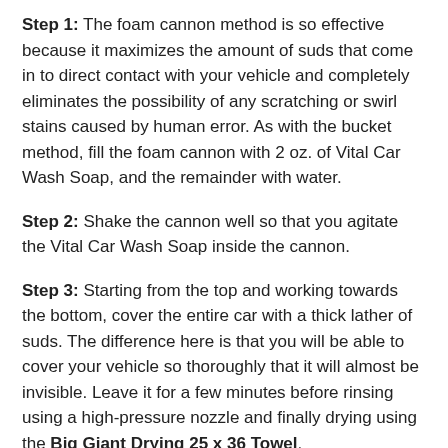Step 1: The foam cannon method is so effective because it maximizes the amount of suds that come in to direct contact with your vehicle and completely eliminates the possibility of any scratching or swirl stains caused by human error. As with the bucket method, fill the foam cannon with 2 oz. of Vital Car Wash Soap, and the remainder with water.
Step 2: Shake the cannon well so that you agitate the Vital Car Wash Soap inside the cannon.
Step 3: Starting from the top and working towards the bottom, cover the entire car with a thick lather of suds. The difference here is that you will be able to cover your vehicle so thoroughly that it will almost be invisible. Leave it for a few minutes before rinsing using a high-pressure nozzle and finally drying using the Big Giant Drying 25 x 36 Towel.
Related products